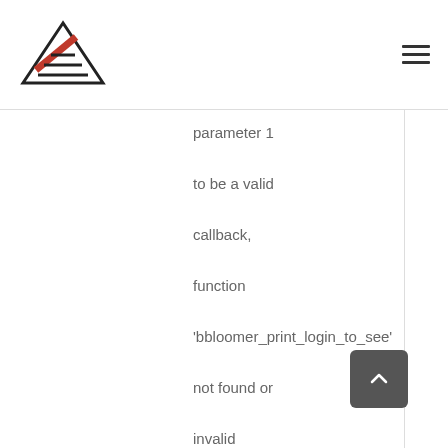Logo and hamburger menu
parameter 1 to be a valid callback, function 'bbloomer_print_login_to_see' not found or invalid function name in /home/teplo711/izocom.ua/www includes/class-